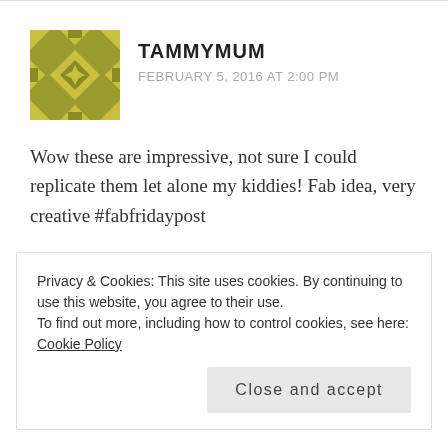[Figure (illustration): Olive/gold geometric quilt-pattern avatar icon for user TAMMYMUM]
TAMMYMUM
FEBRUARY 5, 2016 AT 2:00 PM
Wow these are impressive, not sure I could replicate them let alone my kiddies! Fab idea, very creative #fabfridaypost
★ Liked by 1 person
Reply
Privacy & Cookies: This site uses cookies. By continuing to use this website, you agree to their use.
To find out more, including how to control cookies, see here: Cookie Policy
Close and accept